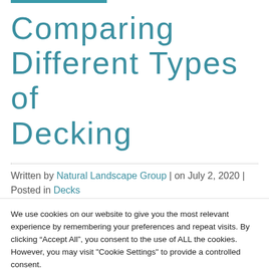Comparing Different Types of Decking
Written by Natural Landscape Group | on July 2, 2020 | Posted in Decks
We use cookies on our website to give you the most relevant experience by remembering your preferences and repeat visits. By clicking “Accept All”, you consent to the use of ALL the cookies. However, you may visit "Cookie Settings" to provide a controlled consent.